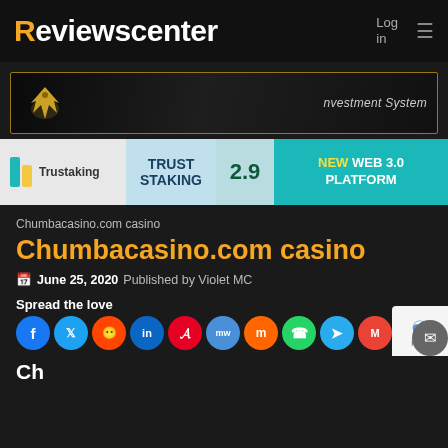Reviewscenter — Log in ≡
[Figure (advertisement): Dark banner ad with gold eagle logo and 'Investment System' text on right]
[Figure (advertisement): Trustaking Trust Staking 2.9 New Web 3.0 Platform banner ad]
Chumbacasino.com casino
Chumbacasino.com casino
June 25, 2020 Published by Violet MC
Spread the love
[Figure (infographic): Social sharing icons row: Facebook, Twitter, Reddit, LinkedIn, Pinterest, MeWe, Mix, WhatsApp, Telegram, Gmail, Instagram, Share]